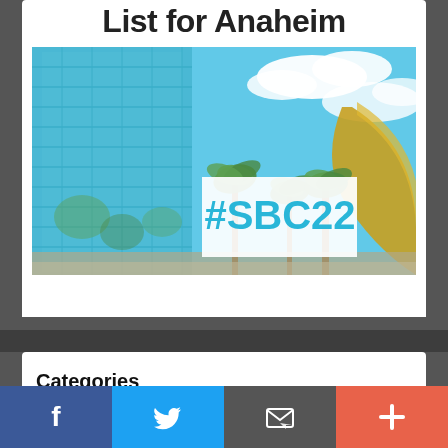List for Anaheim
[Figure (photo): Photo of Anaheim Convention Center exterior with glass building, palm trees, golden curved structure, blue sky, and white overlay box showing #SBC22 in cyan text]
Categories
[Figure (infographic): Social sharing bar with four buttons: Facebook (blue with f icon), Twitter (light blue with bird icon), Email/subscribe (dark gray with envelope icon), More/plus (coral/red with + icon)]